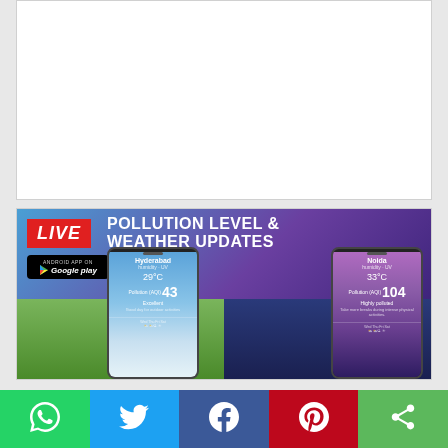[Figure (other): Blank white card area at top of page]
[Figure (screenshot): App advertisement banner showing LIVE Pollution Level & Weather Updates Android app on Google Play. Shows two smartphones displaying Hyderabad (29°C, Pollution AQI 43) and Noida (33°C, Pollution AQI 104) weather and pollution data. Red LIVE badge on left, white headline text on right.]
[Figure (other): Social sharing bar at bottom with WhatsApp (green), Twitter (blue), Facebook (blue), Pinterest (red), and Share (green) buttons with icons]